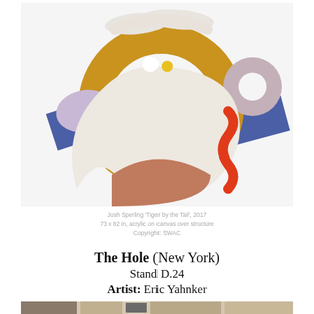[Figure (photo): Abstract sculpture/wall-mounted artwork by Josh Sperling titled 'Tiger by the Tail', 2017. Features a large golden-yellow circular arch shape with geometric colorful elements: blue rectangular panels, a lavender oval disc, a mauve/grey circular ring shape, an off-white curved banana/boomerang form, a terracotta/salmon crescent shape, and a red wavy squiggle. Background is white. The piece is mounted on or hung on a white wall.]
Josh Sperling 'Tiger by the Tail', 2017
73 x 82 in, acrylic on canvas over structure
Copyright: SWAC
The Hole (New York)
Stand D.24
Artist: Eric Yahnker
[Figure (photo): Partial view of another artwork or gallery installation visible at the bottom of the page, cut off.]